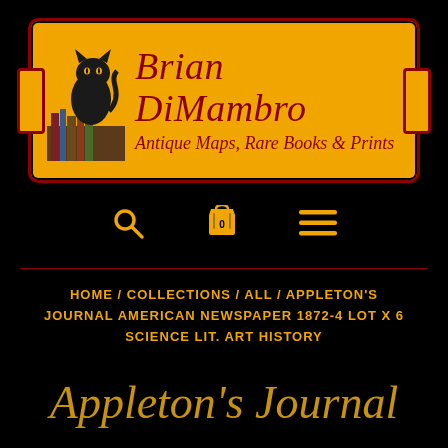[Figure (logo): Brian DiMambro Antique Maps, Rare Books & Prints logo banner with black cat silhouette on orange/gold background with dark red border and scroll ornaments]
[Figure (infographic): Navigation icons: search (magnifying glass), cart (shopping bag with 0), and hamburger menu on black background]
HOME / COLLECTIONS / ALL / APPLETON'S JOURNAL AMERICAN NEWSPAPER 1872-4 LOT X 6 SCIENCE LIT. ART HISTORY
Appleton's Journal